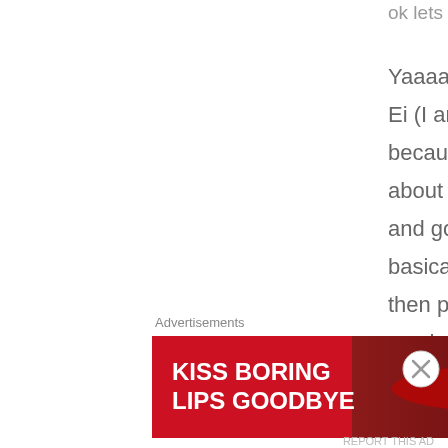ok lets recreate it....
Yaaaay (I think I started with this)! 😀 Ei (I am definitely sure I used Ei because I never use it), did you hear about 100 happy days? I wrote about it and got few bloggers into it, it is basically joining in in their page and then posting photos of whatever made you happy in 100 days. Quite
Advertisements
[Figure (photo): Macy's advertisement banner showing a woman's face with red lips and text 'KISS BORING LIPS GOODBYE' with a 'SHOP NOW' button and Macy's star logo]